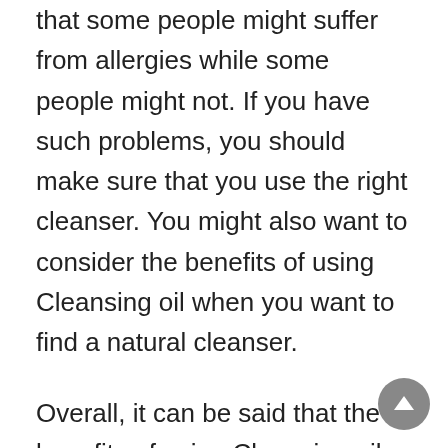that some people might suffer from allergies while some people might not. If you have such problems, you should make sure that you use the right cleanser. You might also want to consider the benefits of using Cleansing oil when you want to find a natural cleanser.
Overall, it can be said that the benefits of using Cleansing oil are too many to mention. However, these are the main benefits of using this product. In addition to that, you should know how to properly use it, how to apply it and how to cleanse your face. In addition, keep in mind that different types of skin will need different cleansers. Keep this in mind and you